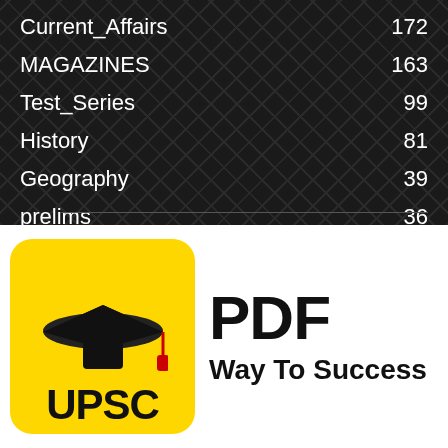Current_Affairs   172
MAGAZINES   163
Test_Series   99
History   81
Geography   39
prelims   36
[Figure (logo): UPSC PDF Way To Success logo — yellow rounded square with graduation cap icon and bold UPSC text, next to bold PDF text and 'Way To Success' tagline]